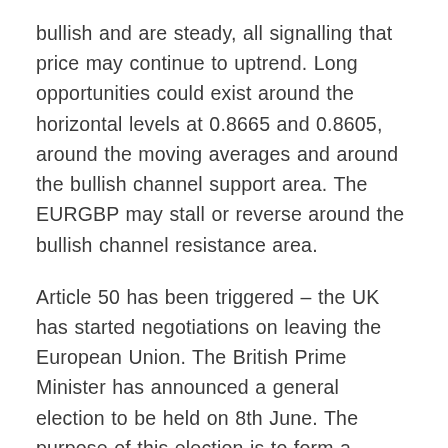bullish and are steady, all signalling that price may continue to uptrend. Long opportunities could exist around the horizontal levels at 0.8665 and 0.8605, around the moving averages and around the bullish channel support area. The EURGBP may stall or reverse around the bullish channel resistance area.
Article 50 has been triggered – the UK has started negotiations on leaving the European Union. The British Prime Minister has announced a general election to be held on 8th June. The purpose of this election is to form a majority government in order to strengthen government unity. Recent economic indicators for the UK are suggesting an unexpected slow-down. The Bank of England recently kept rates at 0.25% and announced that wage growth is stagnant while inflation is increasing, causing some concerns